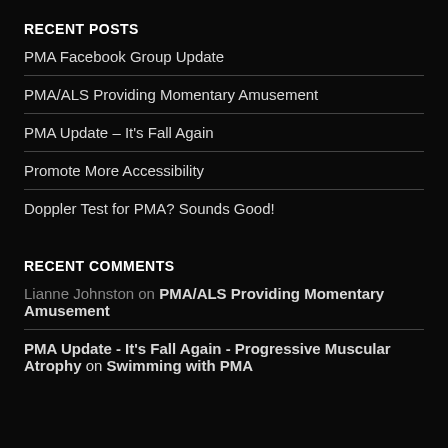RECENT POSTS
PMA Facebook Group Update
PMA/ALS Providing Momentary Amusement
PMA Update – It's Fall Again
Promote More Accessibility
Doppler Test for PMA? Sounds Good!
RECENT COMMENTS
Lianne Johnston on PMA/ALS Providing Momentary Amusement
PMA Update - It's Fall Again - Progressive Muscular Atrophy on Swimming with PMA